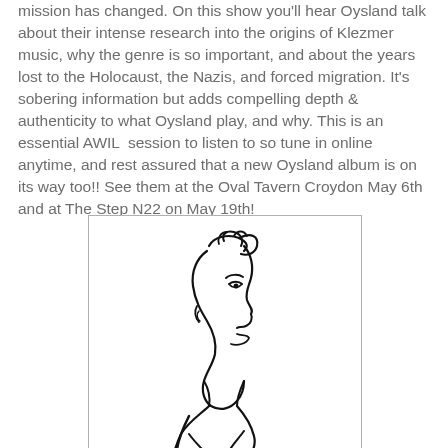mission has changed. On this show you'll hear Oysland talk about their intense research into the origins of Klezmer music, why the genre is so important, and about the years lost to the Holocaust, the Nazis, and forced migration. It's sobering information but adds compelling depth & authenticity to what Oysland play, and why. This is an essential AWIL  session to listen to so tune in online anytime, and rest assured that a new Oysland album is on its way too!! See them at the Oval Tavern Croydon May 6th and at The Step N22 on May 19th!
[Figure (illustration): Line drawing / caricature sketch of a person's profile facing right, with expressive minimal strokes showing hair, facial features, and upper body.]